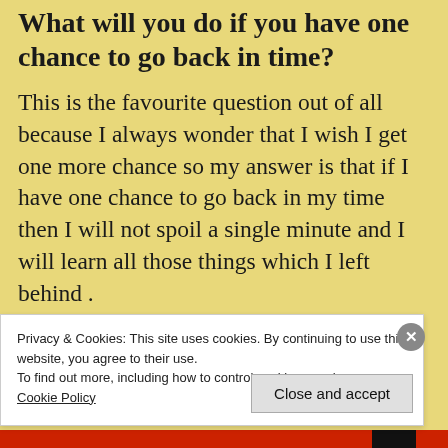What will you do if you have one chance to go back in time?
This is the favourite question out of all because I always wonder that I wish I get one more chance so my answer is that if I have one chance to go back in my time then I will not spoil a single minute and I will learn all those things which I left behind .
what is the best decision you have taken in your life?
Privacy & Cookies: This site uses cookies. By continuing to use this website, you agree to their use.
To find out more, including how to control cookies, see here: Cookie Policy